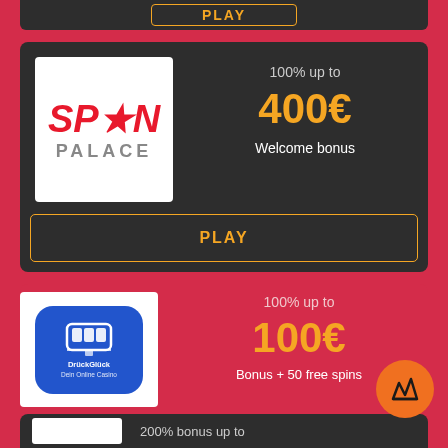[Figure (logo): Partial PLAY button from previous card at top]
[Figure (logo): Spin Palace casino logo - red text on white background]
100% up to
400€
Welcome bonus
PLAY
[Figure (logo): DrückGlück casino logo - slot machine icon on blue rounded square]
100% up to
100€
Bonus + 50 free spins
PLAY
200% bonus up to
[Figure (other): Orange circular floating action button with racing flag icon]